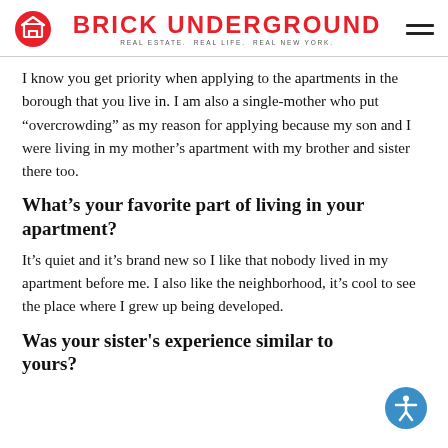BRICK UNDERGROUND — REAL ESTATE. REAL LIFE. REAL NEW YORK.
I know you get priority when applying to the apartments in the borough that you live in. I am also a single-mother who put “overcrowding” as my reason for applying because my son and I were living in my mother’s apartment with my brother and sister there too.
What’s your favorite part of living in your apartment?
It’s quiet and it’s brand new so I like that nobody lived in my apartment before me. I also like the neighborhood, it’s cool to see the place where I grew up being developed.
Was your sister's experience similar to yours?